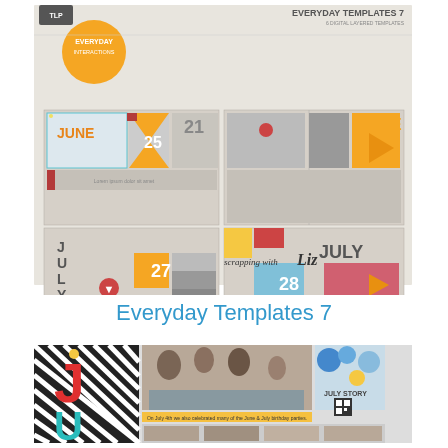[Figure (illustration): Product preview image for 'Everyday Templates 7' showing scrapbook layout templates with June and July calendar date designs, colorful geometric shapes, gray photo placeholders, on a light gray background. Includes 'Everyday Interactions' badge and 'scrapping with Liz' signature.]
Everyday Templates 7
[Figure (photo): Scrapbook layout sample using the Everyday Templates 7, featuring large diagonal stripe black and white background with red J and teal U letters, photos of children at a birthday party table, 'JULY STORY' text, QR code, and caption text about June & July birthday parties.]